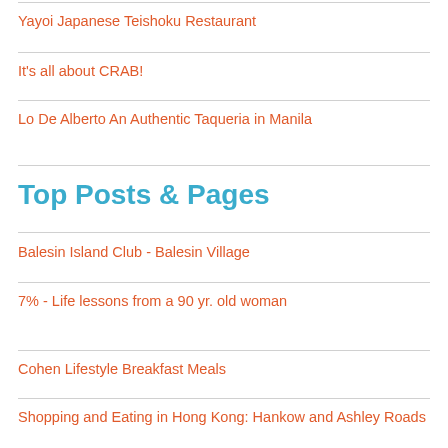Yayoi Japanese Teishoku Restaurant
It's all about CRAB!
Lo De Alberto An Authentic Taqueria in Manila
Top Posts & Pages
Balesin Island Club - Balesin Village
7% - Life lessons from a 90 yr. old woman
Cohen Lifestyle Breakfast Meals
Shopping and Eating in Hong Kong: Hankow and Ashley Roads